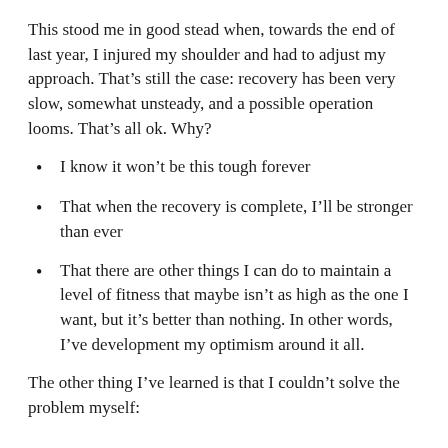This stood me in good stead when, towards the end of last year, I injured my shoulder and had to adjust my approach. That’s still the case: recovery has been very slow, somewhat unsteady, and a possible operation looms. That’s all ok. Why?
I know it won’t be this tough forever
That when the recovery is complete, I’ll be stronger than ever
That there are other things I can do to maintain a level of fitness that maybe isn’t as high as the one I want, but it’s better than nothing. In other words, I’ve development my optimism around it all.
The other thing I’ve learned is that I couldn’t solve the problem myself: